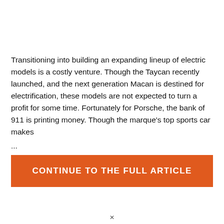Transitioning into building an expanding lineup of electric models is a costly venture. Though the Taycan recently launched, and the next generation Macan is destined for electrification, these models are not expected to turn a profit for some time. Fortunately for Porsche, the bank of 911 is printing money. Though the marque's top sports car makes
...
CONTINUE TO THE FULL ARTICLE